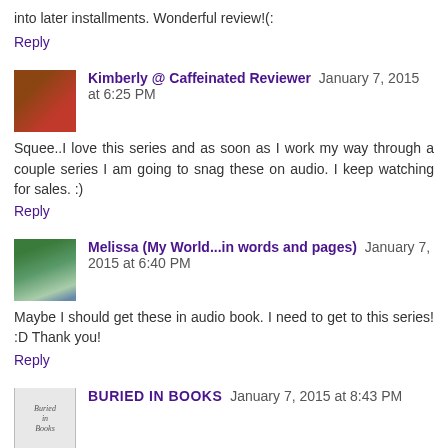into later installments. Wonderful review!(:
Reply
Kimberly @ Caffeinated Reviewer  January 7, 2015 at 6:25 PM
Squee..I love this series and as soon as I work my way through a couple series I am going to snag these on audio. I keep watching for sales. :)
Reply
Melissa (My World...in words and pages)  January 7, 2015 at 6:40 PM
Maybe I should get these in audio book. I need to get to this series! :D Thank you!
Reply
BURIED IN BOOKS  January 7, 2015 at 8:43 PM